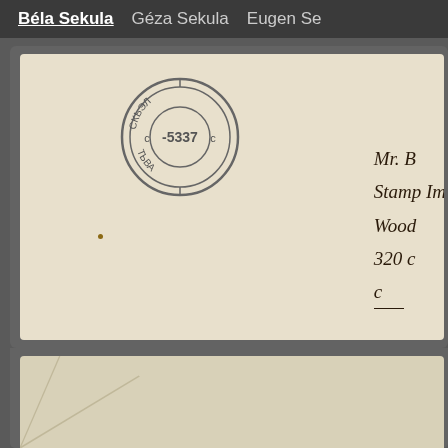Béla Sekula   Géza Sekula   Eugen Se…
[Figure (photo): Scanned envelope with Cyrillic circular postmark reading '-53 37', a registration stamp reading 'R KIZIL No 798', and partial cursive handwritten address to 'Mr. B... Stamp Im... Wood... 320...' The envelope has a cream/aged paper appearance.]